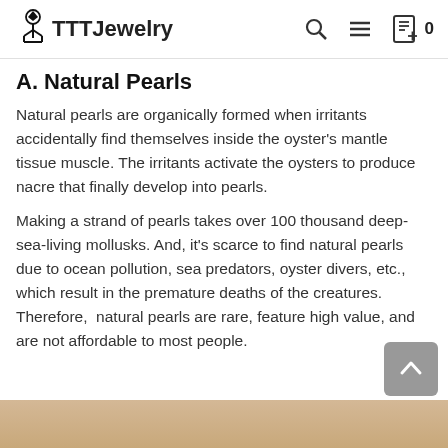TTTJewelry
A. Natural Pearls
Natural pearls are organically formed when irritants accidentally find themselves inside the oyster's mantle tissue muscle. The irritants activate the oysters to produce nacre that finally develop into pearls.
Making a strand of pearls takes over 100 thousand deep-sea-living mollusks. And, it's scarce to find natural pearls due to ocean pollution, sea predators, oyster divers, etc., which result in the premature deaths of the creatures. Therefore,  natural pearls are rare, feature high value, and are not affordable to most people.
[Figure (photo): Bottom portion of a photo visible at the bottom of the page, showing a warm beige/tan color, likely a pearl or oyster related image.]